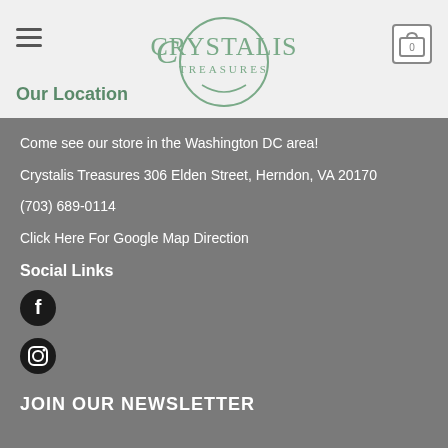[Figure (logo): Crystalis Treasures logo with circular design and stylized text]
Our Location
Come see our store in the Washington DC area!
Crystalis Treasures 306 Elden Street, Herndon, VA 20170
(703) 689-0114
Click Here For Google Map Direction
Social Links
[Figure (illustration): Facebook social media icon - black circle with white F]
[Figure (illustration): Instagram social media icon - black circle with camera outline]
JOIN OUR NEWSLETTER